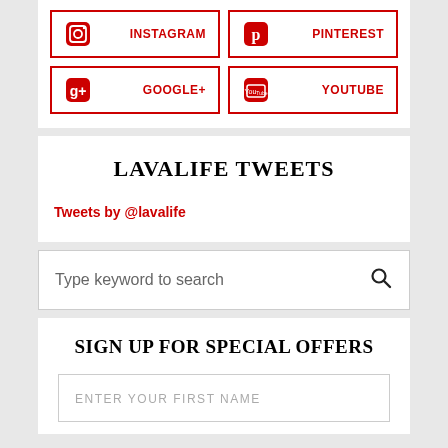[Figure (infographic): Social media buttons for Instagram, Pinterest, Google+, and YouTube with red borders and icons]
LAVALIFE TWEETS
Tweets by @lavalife
Type keyword to search
SIGN UP FOR SPECIAL OFFERS
ENTER YOUR FIRST NAME